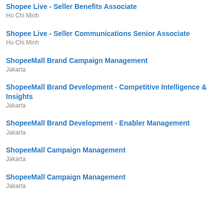Shopee Live - Seller Benefits Associate
Ho Chi Minh
Shopee Live - Seller Communications Senior Associate
Ho Chi Minh
ShopeeMall Brand Campaign Management
Jakarta
ShopeeMall Brand Development - Competitive Intelligence & Insights
Jakarta
ShopeeMall Brand Development - Enabler Management
Jakarta
ShopeeMall Campaign Management
Jakarta
ShopeeMall Campaign Management
Jakarta